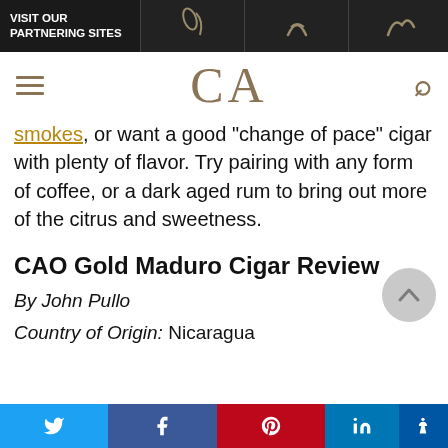VISIT OUR PARTNERING SITES
[Figure (logo): CA logo with hamburger menu and search icon navigation bar]
smokes, or want a good “change of pace” cigar with plenty of flavor. Try pairing with any form of coffee, or a dark aged rum to bring out more of the citrus and sweetness.
CAO Gold Maduro Cigar Review
By John Pullo
Country of Origin: Nicaragua
Twitter Facebook Pinterest LinkedIn Accessibility